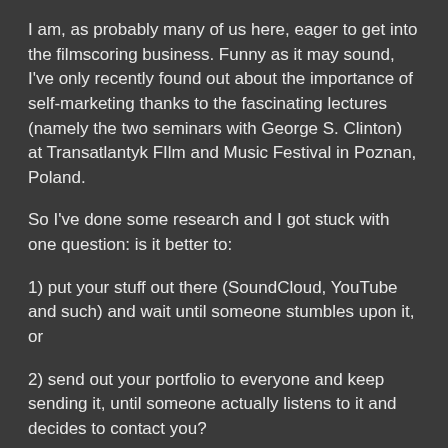I am, as probably many of us here, eager to get into the filmscoring business. Funny as it may sound, I've only recently found out about the importance of self-marketing thanks to the fascinating lectures (namely the two seminars with George S. Clinton) at Transatlantyk FIlm and Music Festival in Poznan, Poland.
So I've done some research and I got stuck with one question: is it better to:
1) put your stuff out there (SoundCloud, YouTube and such) and wait until someone stumbles upon it, or
2) send out your portfolio to everyone and keep sending it, until someone actually listens to it and decides to contact you?
Some support #1, saying "it shows you in a better